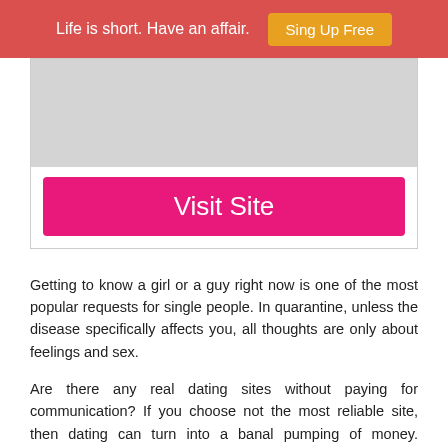Life is short. Have an affair. Sing Up Free
[Figure (other): Grey placeholder image box]
Visit Site
Getting to know a girl or a guy right now is one of the most popular requests for single people. In quarantine, unless the disease specifically affects you, all thoughts are only about feelings and sex.
Are there any real dating sites without paying for communication? If you choose not the most reliable site, then dating can turn into a banal pumping of money. Resources, where you need to pay for each action, are not uncommon, but whether they help a woman or a man to